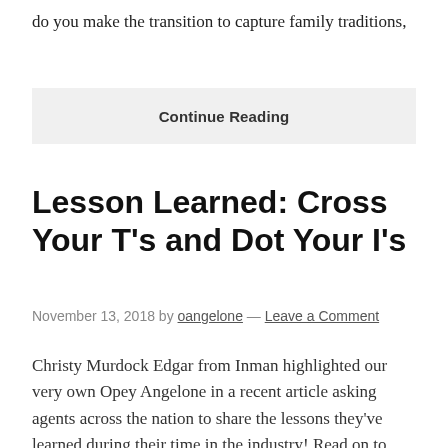do you make the transition to capture family traditions,
Continue Reading
Lesson Learned: Cross Your T's and Dot Your I's
November 13, 2018 by oangelone — Leave a Comment
Christy Murdock Edgar from Inman highlighted our very own Opey Angelone in a recent article asking agents across the nation to share the lessons they've learned during their time in the industry! Read on to learn how our Florida Broker knows that when it comes